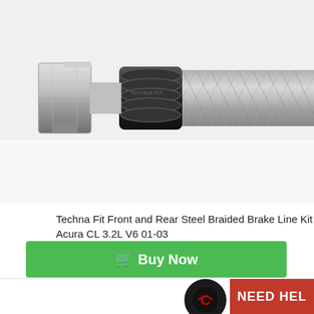[Figure (photo): Close-up photo of a steel braided brake line with a metal fitting/connector on the left end and a black protective sleeve, extending to the right with braided stainless steel construction on a light gray/white background.]
Techna Fit Front and Rear Steel Braided Brake Line Kit Acura CL 3.2L V6 01-03
Model #AC-1210
$138.00
Buy Now
[Figure (logo): Need Help logo with circular icon and red badge with text NEED HEL (partially visible)]